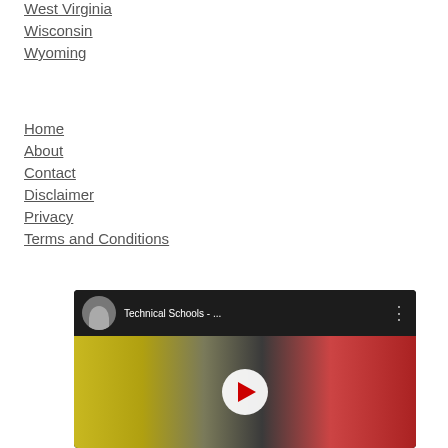West Virginia
Wisconsin
Wyoming
Home
About
Contact
Disclaimer
Privacy
Terms and Conditions
[Figure (screenshot): YouTube video thumbnail showing 'Technical Schools - ...' with a worker in a yellow safety vest and play button overlay]